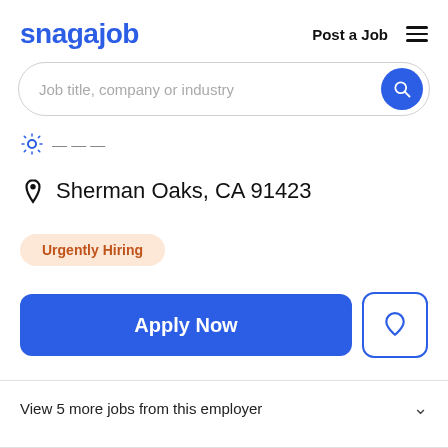snagajob — Post a Job ☰
Job title, company or industry
Full time
Sherman Oaks, CA 91423
Urgently Hiring
Apply Now
View 5 more jobs from this employer